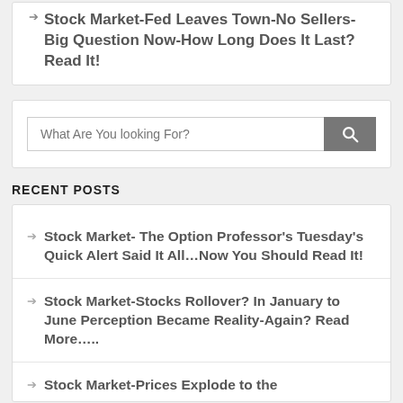Stock Market-Fed Leaves Town-No Sellers-Big Question Now-How Long Does It Last? Read It!
[Figure (other): Search box with text 'What Are You looking For?' and a gray search button with magnifying glass icon]
RECENT POSTS
Stock Market- The Option Professor's Tuesday's Quick Alert Said It All…Now You Should Read It!
Stock Market-Stocks Rollover? In January to June Perception Became Reality-Again? Read More…..
Stock Market-Prices Explode to the